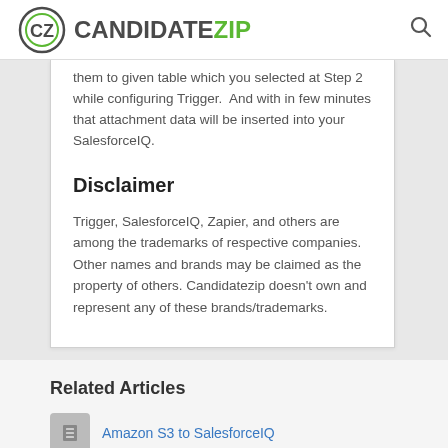CANDIDATEZIP
them to given table which you selected at Step 2 while configuring Trigger.  And with in few minutes that attachment data will be inserted into your SalesforceIQ.
Disclaimer
Trigger, SalesforceIQ, Zapier, and others are among the trademarks of respective companies. Other names and brands may be claimed as the property of others. Candidatezip doesn't own and represent any of these brands/trademarks.
Related Articles
Amazon S3 to SalesforceIQ